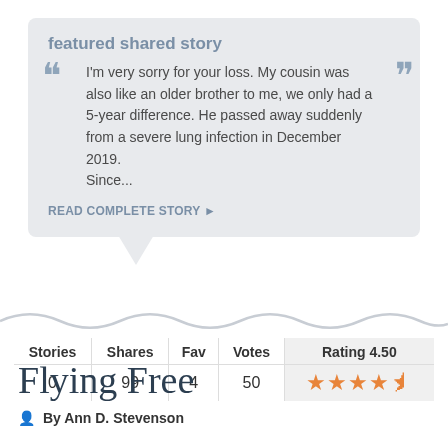featured shared story
I'm very sorry for your loss. My cousin was also like an older brother to me, we only had a 5-year difference. He passed away suddenly from a severe lung infection in December 2019. Since...
READ COMPLETE STORY ▶
| Stories | Shares | Fav | Votes | Rating 4.50 |
| --- | --- | --- | --- | --- |
| 0 | 99 | 4 | 50 | ★★★★½ |
Flying Free
By Ann D. Stevenson